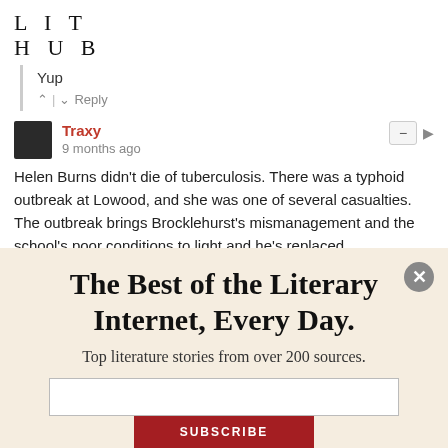LIT HUB
Yup
^ | v  Reply
Traxy
9 months ago
Helen Burns didn't die of tuberculosis. There was a typhoid outbreak at Lowood, and she was one of several casualties. The outbreak brings Brocklehurst's mismanagement and the school's poor conditions to light and he's replaced.
The Best of the Literary Internet, Every Day.
Top literature stories from over 200 sources.
SUBSCRIBE